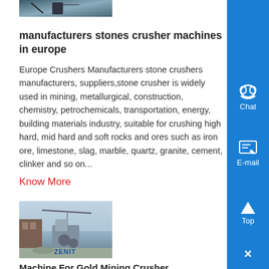[Figure (photo): Partial view of mining/crusher machinery image at top left]
manufacturers stones crusher machines in europe
Europe Crushers Manufacturers stone crushers manufacturers, suppliers,stone crusher is widely used in mining, metallurgical, construction, chemistry, petrochemicals, transportation, energy, building materials industry, suitable for crushing high hard, mid hard and soft rocks and ores such as iron ore, limestone, slag, marble, quartz, granite, cement, clinker and so on...
Know More
[Figure (photo): ZENIT branded industrial quarry/crushing site image]
Machine For Gold Mining Crusher